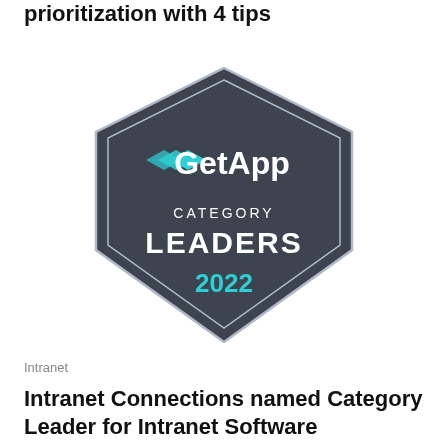Better intranet content prioritization with 4 tips
[Figure (logo): GetApp Category Leaders 2022 badge — dark grey diamond/shield shape with teal chevron arrows logo, white text 'GetApp', white text 'CATEGORY LEADERS', teal text '2022']
Intranet
Intranet Connections named Category Leader for Intranet Software